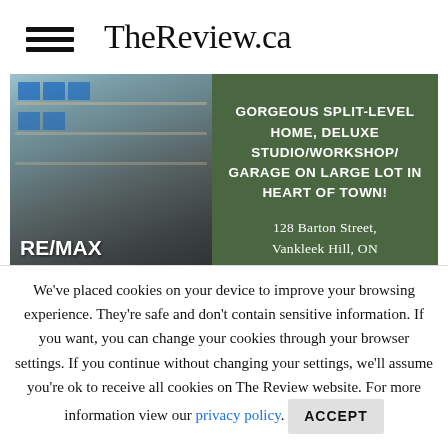TheReview.ca
[Figure (photo): RE/MAX Delta Realty advertisement showing a workshop/garage storage interior on the left and a dark green panel on the right with text: GORGEOUS SPLIT-LEVEL HOME, DELUXE STUDIO/WORKSHOP/GARAGE ON LARGE LOT IN HEART OF TOWN! 128 Barton Street, Vankleek Hill, ON]
We've placed cookies on your device to improve your browsing experience. They're safe and don't contain sensitive information. If you want, you can change your cookies through your browser settings. If you continue without changing your settings, we'll assume you're ok to receive all cookies on The Review website. For more information view our privacy policy. ACCEPT